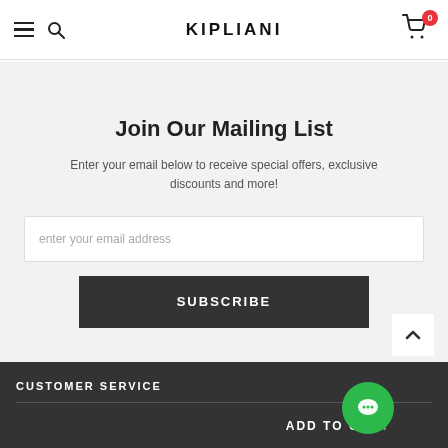KIPLIANI
Join Our Mailing List
Enter your email below to receive special offers, exclusive discounts and more!
enter your email address
SUBSCRIBE
CUSTOMER SERVICE
ADD TO CART